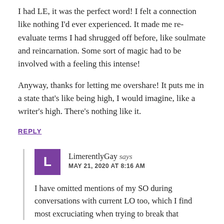I had LE, it was the perfect word! I felt a connection like nothing I'd ever experienced. It made me re-evaluate terms I had shrugged off before, like soulmate and reincarnation. Some sort of magic had to be involved with a feeling this intense!

Anyway, thanks for letting me overshare! It puts me in a state that's like being high, I would imagine, like a writer's high. There's nothing like it.
REPLY
LimerentlyGay says
MAY 21, 2020 AT 8:16 AM
I have omitted mentions of my SO during conversations with current LO too, which I find most excruciating when trying to break that